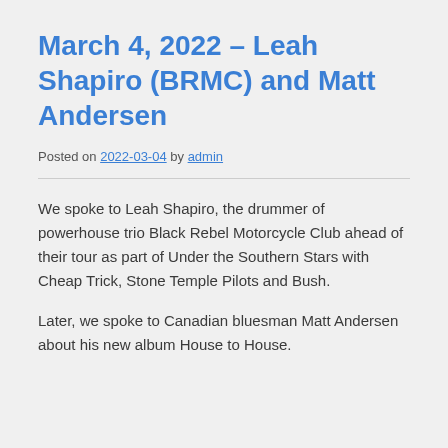March 4, 2022 – Leah Shapiro (BRMC) and Matt Andersen
Posted on 2022-03-04 by admin
We spoke to Leah Shapiro, the drummer of powerhouse trio Black Rebel Motorcycle Club ahead of their tour as part of Under the Southern Stars with Cheap Trick, Stone Temple Pilots and Bush.
Later, we spoke to Canadian bluesman Matt Andersen about his new album House to House.